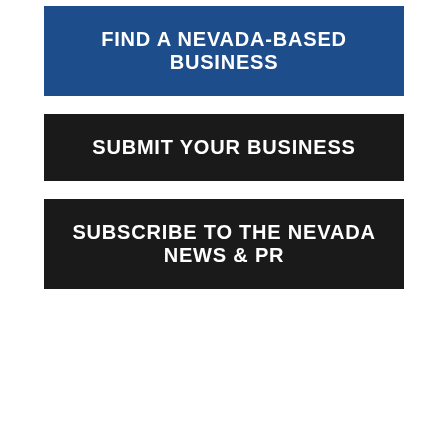FIND A NEVADA-BASED BUSINESS
SUBMIT YOUR BUSINESS
SUBSCRIBE TO THE NEVADA NEWS & PR